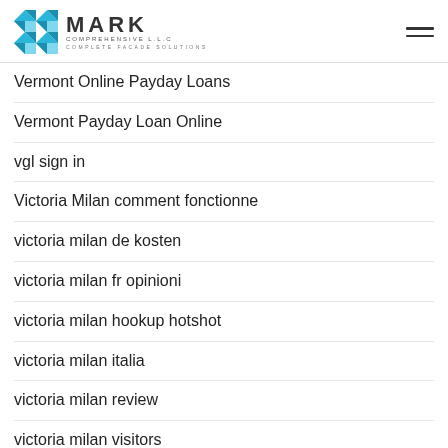MARK COMPREHENSIVE L.L.C — COMPLETE FACADE SOLUTIONS
Vermont Online Payday Loans
Vermont Payday Loan Online
vgl sign in
Victoria Milan comment fonctionne
victoria milan de kosten
victoria milan fr opinioni
victoria milan hookup hotshot
victoria milan italia
victoria milan review
victoria milan visitors